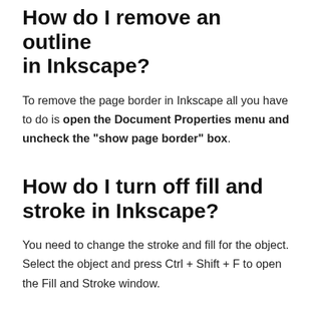How do I remove an outline in Inkscape?
To remove the page border in Inkscape all you have to do is open the Document Properties menu and uncheck the “show page border” box.
How do I turn off fill and stroke in Inkscape?
You need to change the stroke and fill for the object. Select the object and press Ctrl + Shift + F to open the Fill and Stroke window.